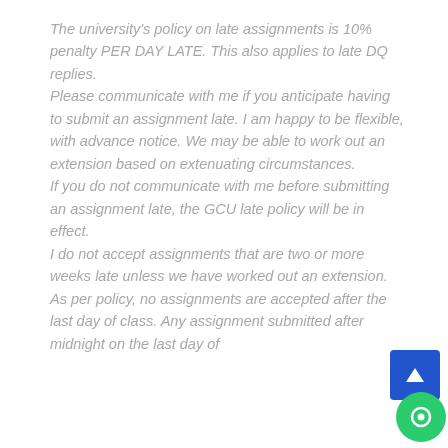The university's policy on late assignments is 10% penalty PER DAY LATE. This also applies to late DQ replies.
Please communicate with me if you anticipate having to submit an assignment late. I am happy to be flexible, with advance notice. We may be able to work out an extension based on extenuating circumstances.
If you do not communicate with me before submitting an assignment late, the GCU late policy will be in effect.
I do not accept assignments that are two or more weeks late unless we have worked out an extension.
As per policy, no assignments are accepted after the last day of class. Any assignment submitted after midnight on the last day of